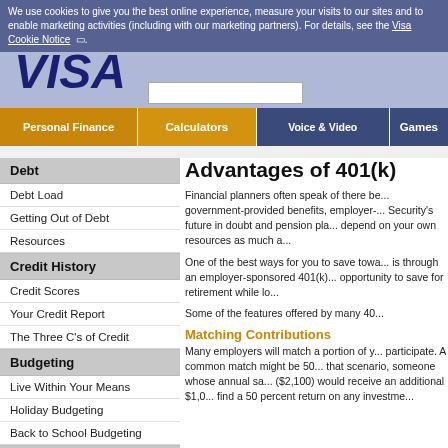We use cookies to give you the best online experience, measure your visits to our sites and to enable marketing activities (including with our marketing partners). For details, see the Visa Cookie Notice.
[Figure (logo): VISA logo in dark blue/navy text on light purple background]
Personal Finance | Calculators | Voice & Video | Games
Debt
Debt Load
Getting Out of Debt
Resources
Credit History
Credit Scores
Your Credit Report
The Three C's of Credit
Budgeting
Live Within Your Means
Holiday Budgeting
Back to School Budgeting
Savings
Advantages of 401(k)
Financial planners often speak of there being three legs of retirement income: government-provided benefits, employer-provided pensions, and personal savings. With Social Security's future in doubt and pension plans increasingly rare, you may need to depend on your own resources as much as possible.
One of the best ways for you to save toward retirement is through an employer-sponsored 401(k). It gives you an opportunity to save for retirement while lowering your taxes.
Some of the features offered by many 401(k) plans include:
Matching Contributions
Many employers will match a portion of your contribution if you participate. A common match might be 50 percent up to 6 percent of salary. In that scenario, someone whose annual salary is $35,000 contributing 6 percent ($2,100) would receive an additional $1,050 from the employer — essentially find a 50 percent return on any investment.